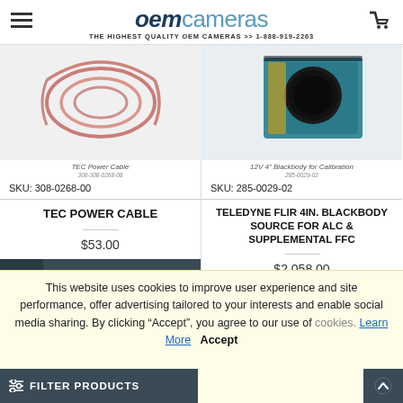oem cameras — THE HIGHEST QUALITY OEM CAMERAS >> 1-888-919-2263
[Figure (photo): TEC Power Cable product image — coiled red/copper wire]
TEC Power Cable
SKU: 308-0268-00
TEC POWER CABLE
$53.00
[Figure (photo): 12V 4" Blackbody for Calibration product image — teal/blue box with black circle]
12V 4" Blackbody for Calibration
SKU: 285-0029-02
TELEDYNE FLIR 4IN. BLACKBODY SOURCE FOR ALC & SUPPLEMENTAL FFC
$2,058.00
This website uses cookies to improve user experience and site performance, offer advertising tailored to your interests and enable social media sharing. By clicking “Accept”, you agree to our use of cookies. Learn More Accept
FILTER PRODUCTS